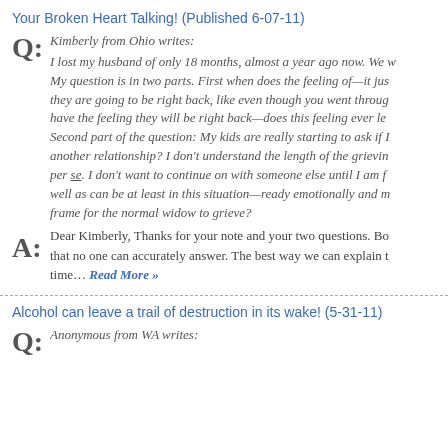Your Broken Heart Talking! (Published 6-07-11)
Q: Kimberly from Ohio writes:
I lost my husband of only 18 months, almost a year ago now. We w… My question is in two parts. First when does the feeling of—it jus… they are going to be right back, like even though you went throug… have the feeling they will be right back—does this feeling ever le… Second part of the question: My kids are really starting to ask if I… another relationship? I don't understand the length of the grieving… per se. I don't want to continue on with someone else until I am f… well as can be at least in this situation—ready emotionally and m… frame for the normal widow to grieve?
A: Dear Kimberly, Thanks for your note and your two questions. Bo… that no one can accurately answer. The best way we can explain t… time… Read More »
Alcohol can leave a trail of destruction in its wake! (5-31-11)
Q: Anonymous from WA writes: